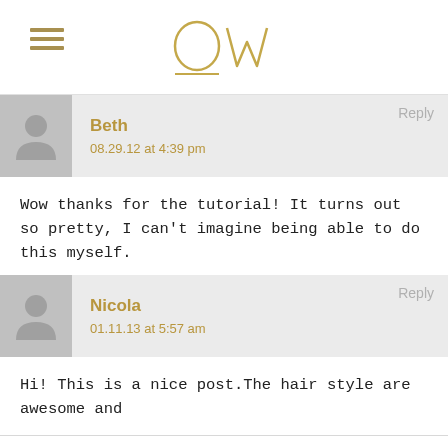OW (logo) with hamburger menu
Reply
Beth
08.29.12 at 4:39 pm
Wow thanks for the tutorial! It turns out so pretty, I can't imagine being able to do this myself.
Reply
Nicola
01.11.13 at 5:57 am
Hi! This is a nice post.The hair style are awesome and